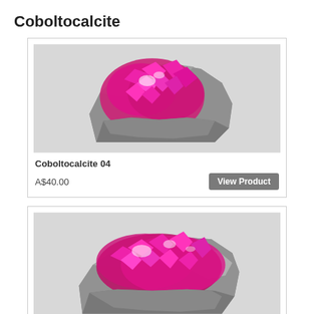Coboltocalcite
[Figure (photo): Photo of Coboltocalcite 04 mineral specimen showing pink/magenta crystal clusters on grey rock matrix]
Coboltocalcite 04
A$40.00
[Figure (photo): Photo of Coboltocalcite 05 mineral specimen showing vibrant pink/magenta crystal clusters on grey rock matrix]
Coboltocalcite 05
A$65.00